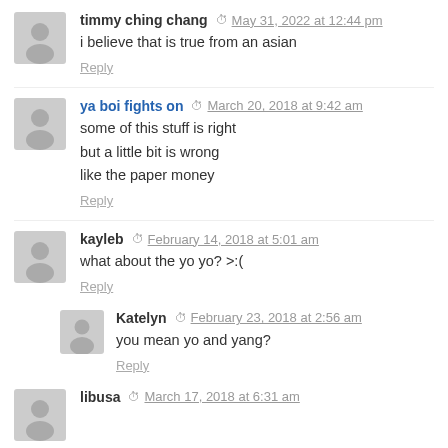timmy ching chang — May 31, 2022 at 12:44 pm
i believe that is true from an asian
Reply
ya boi fights on — March 20, 2018 at 9:42 am
some of this stuff is right
but a little bit is wrong
like the paper money
Reply
kayleb — February 14, 2018 at 5:01 am
what about the yo yo? >:(
Reply
Katelyn — February 23, 2018 at 2:56 am
you mean yo and yang?
Reply
libusa — March 17, 2018 at 6:31 am